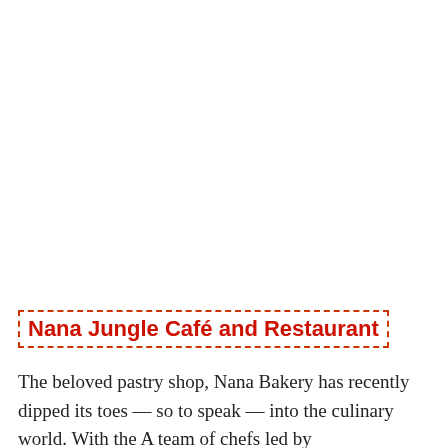Nana Jungle Café and Restaurant
The beloved pastry shop, Nana Bakery has recently dipped its toes — so to speak — into the culinary world. With the A team of chefs led by